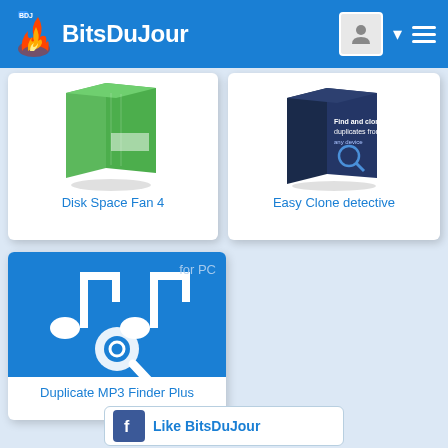BitsDuJour
[Figure (screenshot): Product card for Disk Space Fan 4 showing green software box image]
Disk Space Fan 4
[Figure (screenshot): Product card for Easy Clone detective showing dark software box image]
Easy Clone detective
[Figure (screenshot): Product card for Duplicate MP3 Finder Plus showing blue icon with music notes and magnifying glass]
for PC
Duplicate MP3 Finder Plus
Like BitsDuJour